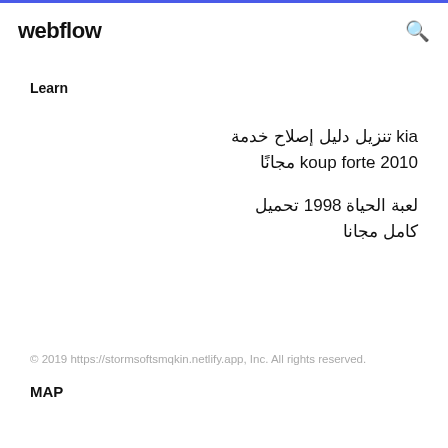webflow
Learn
kia تنزيل دليل إصلاح خدمة koup forte 2010 مجانًا
لعبة الحياة 1998 تحميل كامل مجانا
© 2019 https://stormsoftsmqkin.netlify.app, Inc. All rights reserved.
MAP